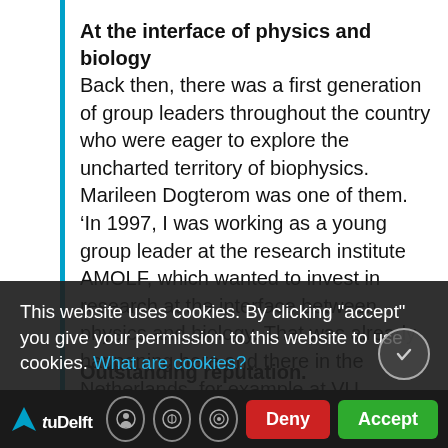At the interface of physics and biology
Back then, there was a first generation of group leaders throughout the country who were eager to explore the uncharted territory of biophysics. Marileen Dogterom was one of them. ‘In 1997, I was working as a young group leader at the research institute AMOLF, which wanted to invest in research at the interface between physics and biology. That was already happening here and there in the Netherlands, for example at VU Amsterdam. At about the same time, the FOM Foundation got on board by establishing the workgroup Physics of Life Processes and investing in ... TU Delft established the Department of Bionanoscience.’
Outstanding reputation.
This website uses cookies. By clicking "accept" you give your permission to this website to use cookies. What are cookies?